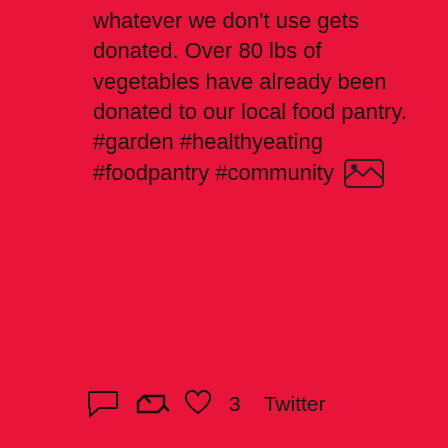whatever we don't use gets donated. Over 80 lbs of vegetables have already been donated to our local food pantry. #garden #healthyeating #foodpantry #community 🖼
💬  🔁  ♡ 3  Twitter
Load More...
Contact Us
Tel: (XXX) XXX-XXXX